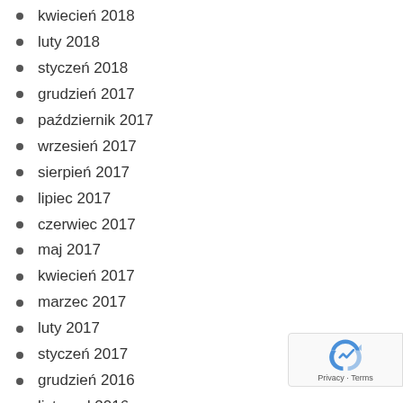kwiecień 2018
luty 2018
styczeń 2018
grudzień 2017
październik 2017
wrzesień 2017
sierpień 2017
lipiec 2017
czerwiec 2017
maj 2017
kwiecień 2017
marzec 2017
luty 2017
styczeń 2017
grudzień 2016
listopad 2016
październik 2016
wrzesień 2016
sierpień 2016
lipiec 2016
czerwiec 2016